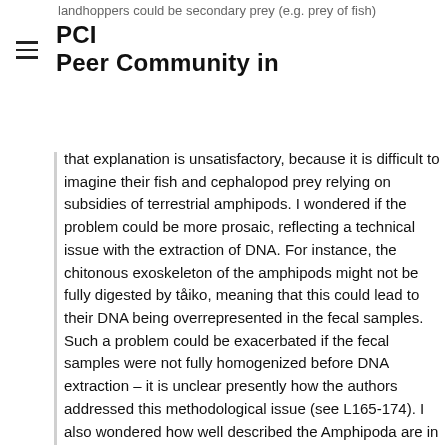landhoppers could be secondary prey (e.g. prey of fish)
PCI Peer Community in
that explanation is unsatisfactory, because it is difficult to imagine their fish and cephalopod prey relying on subsidies of terrestrial amphipods. I wondered if the problem could be more prosaic, reflecting a technical issue with the extraction of DNA. For instance, the chitonous exoskeleton of the amphipods might not be fully digested by taiko, meaning that this could lead to their DNA being overrepresented in the fecal samples. Such a problem could be exacerbated if the fecal samples were not fully homogenized before DNA extraction – it is unclear presently how the authors addressed this methodological issue (see L165-174). I also wondered how well described the Amphipoda are in the reference sequence databases used - could there be challenges on the bioinformatics side? If there was greater taxonomic resolution regarding the Talitridae, it might be possible to better understand where these putative prey come from – are they leaf-litter dwelling “landhoppers” or coastal “sandhoppers”?